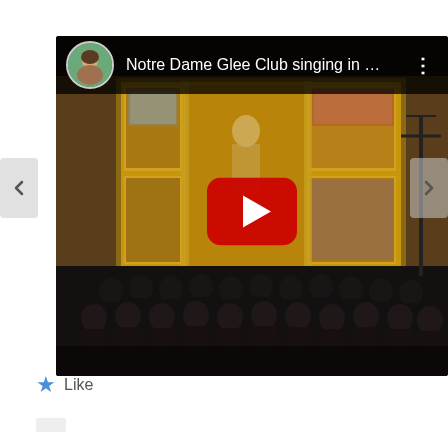[Figure (screenshot): YouTube video embed showing Notre Dame Glee Club singing in a cathedral. The video thumbnail shows a choir dressed in black performing in front of an ornate golden altarpiece. The video header shows a circular avatar photo, the title 'Notre Dame Glee Club singing in ...', and a three-dot menu icon. A YouTube play button (red rounded rectangle with white triangle) is centered on the video. Navigation arrows are visible on the left and right sides.]
Like